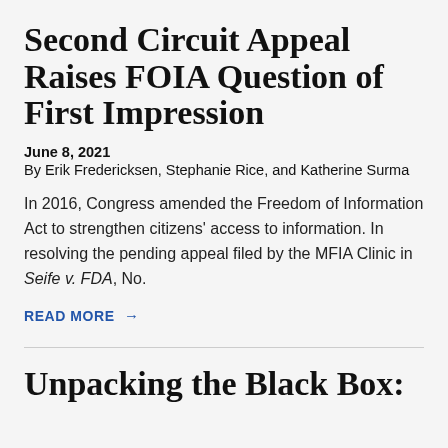Second Circuit Appeal Raises FOIA Question of First Impression
June 8, 2021
By Erik Fredericksen, Stephanie Rice, and Katherine Surma
In 2016, Congress amended the Freedom of Information Act to strengthen citizens' access to information. In resolving the pending appeal filed by the MFIA Clinic in Seife v. FDA, No.
READ MORE →
Unpacking the Black Box: